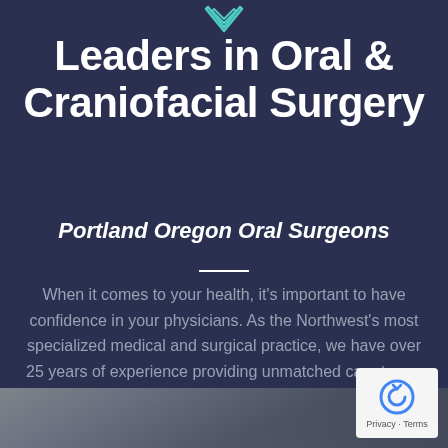[Figure (logo): Teal/cyan chevron downward arrow logo icon at top center]
Leaders in Oral & Craniofacial Surgery
Portland Oregon Oral Surgeons
When it comes to your health, it’s important to have confidence in your physicians. As the Northwest’s most specialized medical and surgical practice, we have over 25 years of experience providing unmatched care to our patients. Now that’s something to be confident about.
[Figure (photo): Exterior building photo at bottom of page]
[Figure (other): Google reCAPTCHA privacy badge with Privacy and Terms links]